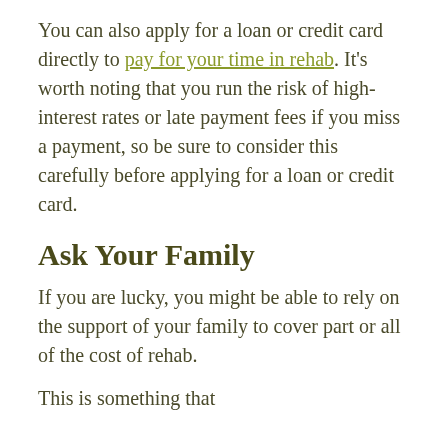You can also apply for a loan or credit card directly to pay for your time in rehab. It's worth noting that you run the risk of high-interest rates or late payment fees if you miss a payment, so be sure to consider this carefully before applying for a loan or credit card.
Ask Your Family
If you are lucky, you might be able to rely on the support of your family to cover part or all of the cost of rehab.
This is something that...